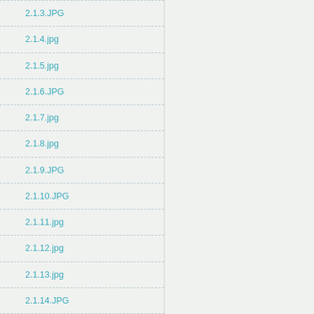2.1.3.JPG
2.1.4.jpg
2.1.5.jpg
2.1.6.JPG
2.1.7.jpg
2.1.8.jpg
2.1.9.JPG
2.1.10.JPG
2.1.11.jpg
2.1.12.jpg
2.1.13.jpg
2.1.14.JPG
2.1.15.JPG
copy4_of_1.jpg